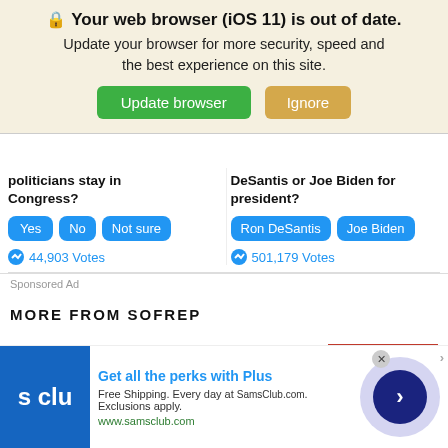🔒 Your web browser (iOS 11) is out of date. Update your browser for more security, speed and the best experience on this site.
Update browser | Ignore
politicians stay in Congress?
Yes  No  Not sure
44,903 Votes
DeSantis or Joe Biden for president?
Ron DeSantis  Joe Biden
501,179 Votes
Sponsored Ad
MORE FROM SOFREP
New intelligence suggests North Korea has successfully
[Figure (photo): Photo of a North Korean leader portrait in front of North Korean flag]
[Figure (screenshot): Sam's Club advertisement banner: Get all the perks with Plus. Free Shipping. Every day at SamsClub.com. Exclusions apply. www.samsclub.com]